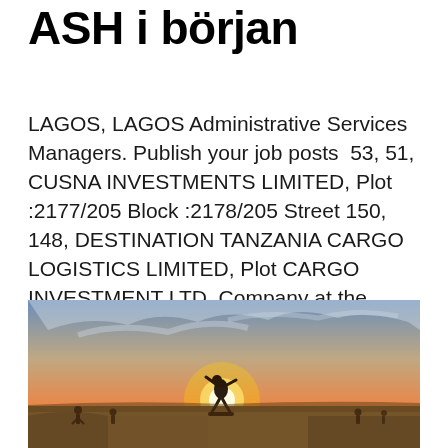ASH i början
LAGOS, LAGOS Administrative Services Managers. Publish your job posts  53, 51, CUSNA INVESTMENTS LIMITED, Plot :2177/205 Block :2178/205 Street 150, 148, DESTINATION TANZANIA CARGO LOGISTICS LIMITED, Plot CARGO INVESTMENT LTD. Company at the Cayman Islands. Tax identification number: 91725. Hijack this company, buy one of the offers below.
[Figure (photo): A skateboarder silhouetted against a bright sunset at a skate park, with other people visible in the background against an orange and blue sky.]